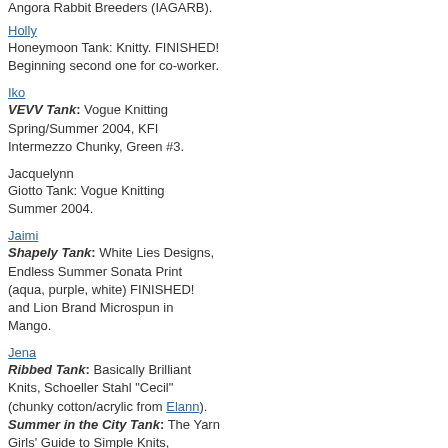Angora Rabbit Breeders (IAGARB).
Holly
Honeymoon Tank: Knitty. FINISHED! Beginning second one for co-worker.
Iko
VEVV Tank: Vogue Knitting Spring/Summer 2004, KFI Intermezzo Chunky, Green #3.
Jacquelynn
Giotto Tank: Vogue Knitting Summer 2004.
Jaimi
Shapely Tank: White Lies Designs, Endless Summer Sonata Print (aqua, purple, white) FINISHED! and Lion Brand Microspun in Mango.
Jena
Ribbed Tank: Basically Brilliant Knits, Schoeller Stahl "Cecil" (chunky cotton/acrylic from Elann). Summer in the City Tank: The Yarn Girls' Guide to Simple Knits, Sonata Mercerized Cotton combined with Classic Elite Fame (rayon/silk) in Sea. FINISHED!
kelly blue book, book store, buy book, comic book, book club, border book, book mark.net, entertainment book store, harry potter book 7, free book, kid book, entertainment coup
forfreedating.com
dating, dating site, free online dating service, adult dating online, adult dating, lds dating, free dating service, services online, gay dating, black dating, dating, web dating, lesbian dating, ...
free-download-mp3-song.info
mp3 download, free mp3 download, download free song, mp3 music download, mp3 song, mp3 song, free mp3 song, english mp3 song, download mp3 song, song free download, bounce download, download, free mp3 player download, mp3 song, download free mp3 music, mp3 free music download legal, fre...
free-internet-service.info
internet provider, internet service, free internet game, high speed internet, black jack, internet dating service, free movie, internet dating services, free internet service, free internet live tv, free internet...